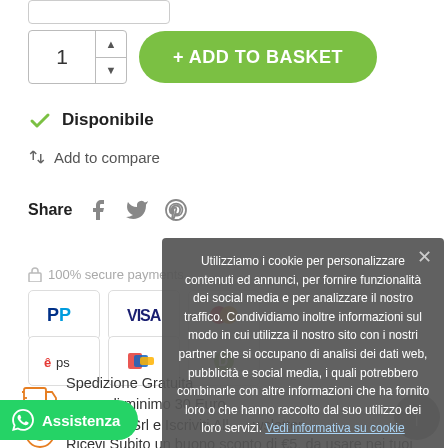[Figure (screenshot): E-commerce product page showing quantity selector, Add to Basket button, availability status, compare link, share icons, secure payments section, payment method badges, shipping info, cookie consent overlay, WhatsApp Assistenza button, and scroll-to-top button.]